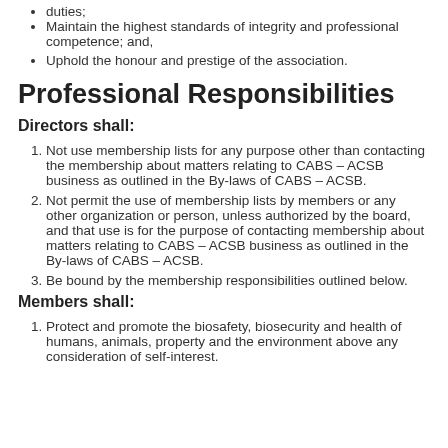duties;
Maintain the highest standards of integrity and professional competence; and,
Uphold the honour and prestige of the association.
Professional Responsibilities
Directors shall:
Not use membership lists for any purpose other than contacting the membership about matters relating to CABS – ACSB business as outlined in the By-laws of CABS – ACSB.
Not permit the use of membership lists by members or any other organization or person, unless authorized by the board, and that use is for the purpose of contacting membership about matters relating to CABS – ACSB business as outlined in the By-laws of CABS – ACSB.
Be bound by the membership responsibilities outlined below.
Members shall:
Protect and promote the biosafety, biosecurity and health of humans, animals, property and the environment above any consideration of self-interest.